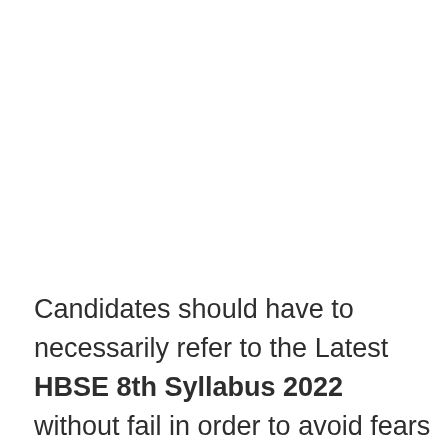Candidates should have to necessarily refer to the Latest HBSE 8th Syllabus 2022 without fail in order to avoid fears and panic during HBSE 8th Syllabus. The HBSE 8th Syllabus 2022 will give a guide of th...